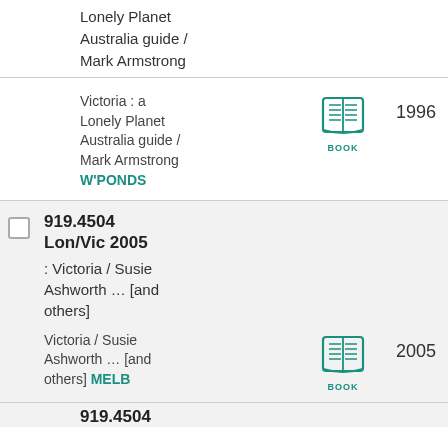Lonely Planet Australia guide / Mark Armstrong
Victoria : a Lonely Planet Australia guide / Mark Armstrong W'PONDS
[Figure (illustration): Book icon with teal/green color and label BOOK]
1996
919.4504 Lon/Vic 2005
: Victoria / Susie Ashworth ... [and others]
Victoria / Susie Ashworth ... [and others] MELB
[Figure (illustration): Book icon with teal/green color and label BOOK]
2005